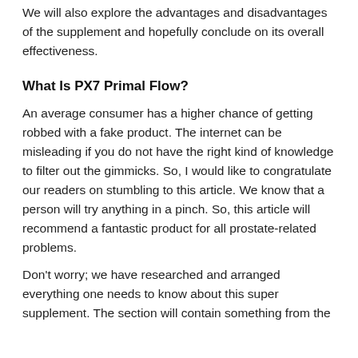We will also explore the advantages and disadvantages of the supplement and hopefully conclude on its overall effectiveness.
What Is PX7 Primal Flow?
An average consumer has a higher chance of getting robbed with a fake product. The internet can be misleading if you do not have the right kind of knowledge to filter out the gimmicks. So, I would like to congratulate our readers on stumbling to this article. We know that a person will try anything in a pinch. So, this article will recommend a fantastic product for all prostate-related problems.
Don't worry; we have researched and arranged everything one needs to know about this super supplement. The section will contain something from the